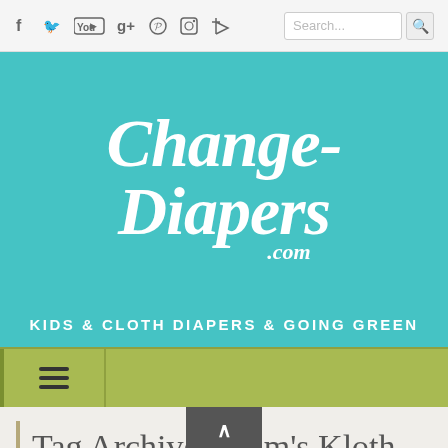Social icons: f, Twitter, YouTube, g+, Pinterest, Instagram, RSS | Search bar
[Figure (logo): Change-Diapers.com logo in white script font on teal/turquoise background]
KIDS & CLOTH DIAPERS & GOING GREEN
[Figure (infographic): Olive green navigation/menu bar with hamburger menu icon on left]
Tag Archives: Kim's Kloth